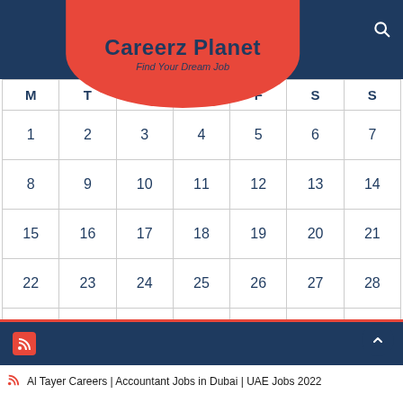Careerz Planet – Find Your Dream Job
| M | T | W | T | F | S | S |
| --- | --- | --- | --- | --- | --- | --- |
| 1 | 2 | 3 | 4 | 5 | 6 | 7 |
| 8 | 9 | 10 | 11 | 12 | 13 | 14 |
| 15 | 16 | 17 | 18 | 19 | 20 | 21 |
| 22 | 23 | 24 | 25 | 26 | 27 | 28 |
| 29 | 30 | 31 |  |  |  |  |
« Jul
Al Tayer Careers | Accountant Jobs in Dubai | UAE Jobs 2022